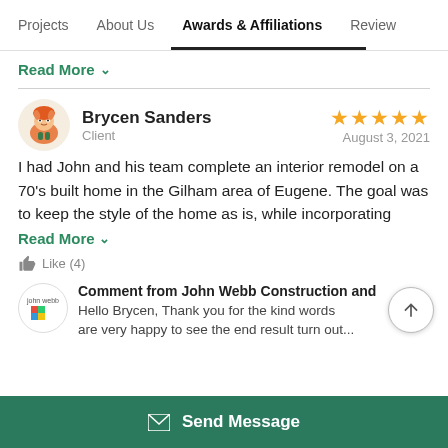Projects  About Us  Awards & Affiliations  Review
Read More ˅
Brycen Sanders
Client
★★★★★
August 3, 2021
I had John and his team complete an interior remodel on a 70's built home in the Gilham area of Eugene. The goal was to keep the style of the home as is, while incorporating
Read More ˅
Like (4)
Comment from John Webb Construction and
Hello Brycen, Thank you for the kind words are very happy to see the end result turn out...
Send Message